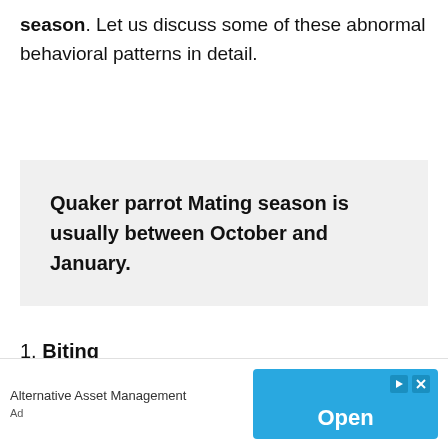season. Let us discuss some of these abnormal behavioral patterns in detail.
Quaker parrot Mating season is usually between October and January.
1. Biting
[Figure (screenshot): Advertisement banner showing 'Alternative Asset Management' with an 'Open' button in blue]